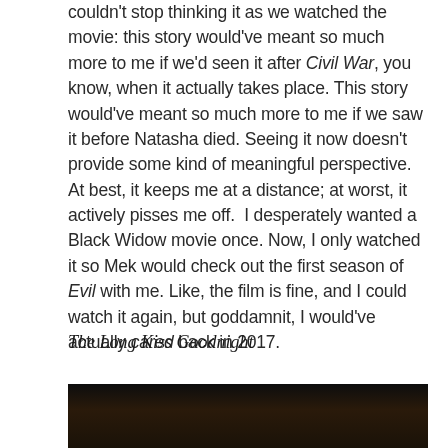couldn't stop thinking it as we watched the movie: this story would've meant so much more to me if we'd seen it after Civil War, you know, when it actually takes place. This story would've meant so much more to me if we saw it before Natasha died. Seeing it now doesn't provide some kind of meaningful perspective. At best, it keeps me at a distance; at worst, it actively pisses me off. I desperately wanted a Black Widow movie once. Now, I only watched it so Mek would check out the first season of Evil with me. Like, the film is fine, and I could watch it again, but goddamnit, I would've actually cared back in 2017.
The Long Kiss Goodnight
[Figure (photo): A dark movie still image, mostly black at the top with a face partially visible at the bottom.]